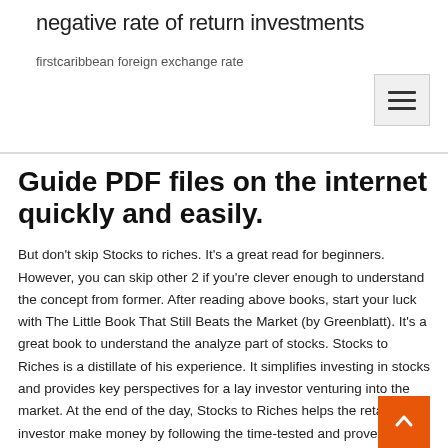negative rate of return investments
firstcaribbean foreign exchange rate
Guide PDF files on the internet quickly and easily.
But don't skip Stocks to riches. It's a great read for beginners. However, you can skip other 2 if you're clever enough to understand the concept from former. After reading above books, start your luck with The Little Book That Still Beats the Market (by Greenblatt). It's a great book to understand the analyze part of stocks. Stocks to Riches is a distillate of his experience. It simplifies investing in stocks and provides key perspectives for a lay investor venturing into the market. At the end of the day, Stocks to Riches helps the retail investor make money by following the time-tested and proven guidelines provided in the book.